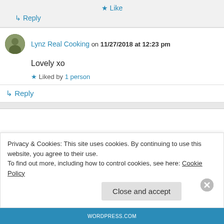★ Like
↳ Reply
Lynz Real Cooking on 11/27/2018 at 12:23 pm
Lovely xo
★ Liked by 1 person
↳ Reply
Privacy & Cookies: This site uses cookies. By continuing to use this website, you agree to their use.
To find out more, including how to control cookies, see here: Cookie Policy
Close and accept